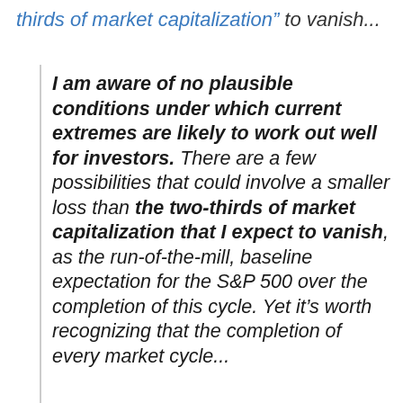thirds of market capitalization" to vanish...
I am aware of no plausible conditions under which current extremes are likely to work out well for investors. There are a few possibilities that could involve a smaller loss than the two-thirds of market capitalization that I expect to vanish, as the run-of-the-mill, baseline expectation for the S&P 500 over the completion of this cycle. Yet it's worth recognizing that the completion of every market cycle...